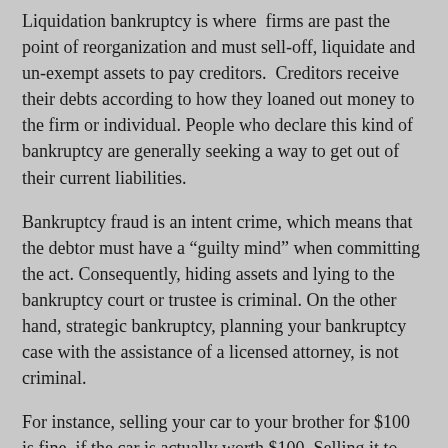Liquidation bankruptcy is where firms are past the point of reorganization and must sell-off, liquidate and un-exempt assets to pay creditors. Creditors receive their debts according to how they loaned out money to the firm or individual. People who declare this kind of bankruptcy are generally seeking a way to get out of their current liabilities.
Bankruptcy fraud is an intent crime, which means that the debtor must have a “guilty mind” when committing the act. Consequently, hiding assets and lying to the bankruptcy court or trustee is criminal. On the other hand, strategic bankruptcy, planning your bankruptcy case with the assistance of a licensed attorney, is not criminal.
For instance, selling your car to your brother for $100 is fine, if the car is actually worth $100. Selling it to your brother for $100 when it is actually worth $20,000 may be criminal. Let an experienced bankruptcy attorney advise you before making any